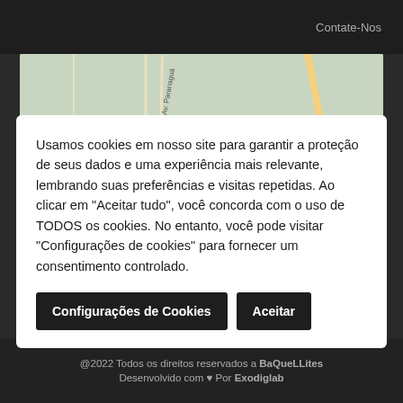Catálogos   Contate-Nos
[Figure (map): Google Maps screenshot showing Parque Boturussu area with Hospital Municipal Professor Doutor... marker, streets including Av. Paranaguá, and neighborhoods BURGO PAULISTA, OCUPAÇÃO, PARQUE GUARANI, VILA]
Usamos cookies em nosso site para garantir a proteção de seus dados e uma experiência mais relevante, lembrando suas preferências e visitas repetidas. Ao clicar em "Aceitar tudo", você concorda com o uso de TODOS os cookies. No entanto, você pode visitar "Configurações de cookies" para fornecer um consentimento controlado.
Configurações de Cookies   Aceitar
@2022 Todos os direitos reservados a BaQueLLites
Desenvolvido com ♥ Por Exodiglab